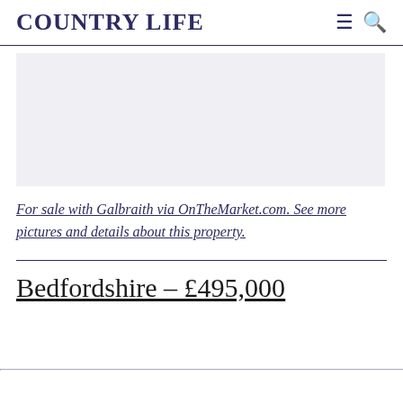COUNTRY LIFE
[Figure (photo): Property image placeholder — light grey rectangle]
For sale with Galbraith via OnTheMarket.com. See more pictures and details about this property.
Bedfordshire – £495,000